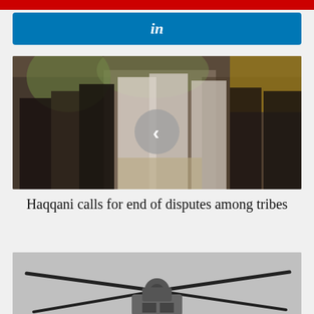[Figure (other): Red horizontal bar at top of page]
[Figure (other): LinkedIn share button — blue rectangular button with white 'in' text]
[Figure (photo): Group of bearded men in traditional Afghan/Pakistani dress standing together in a decorated interior. A circular play button overlay is visible in the center.]
Haqqani calls for end of disputes among tribes
[Figure (photo): Partial image of a helicopter rotor/top view, cropped at bottom of page]